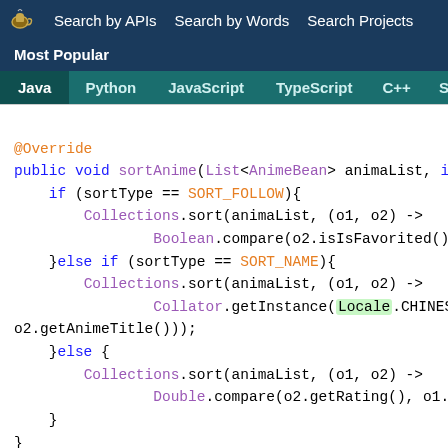Search by APIs  Search by Words  Search Projects
Most Popular
Java  Python  JavaScript  TypeScript  C++  Scala
[Figure (screenshot): Java code snippet showing sortAnime method with conditional sorting by SORT_FOLLOW, SORT_NAME using Collator with Locale.CHINESE, and else branch using Double.compare for rating sort.]